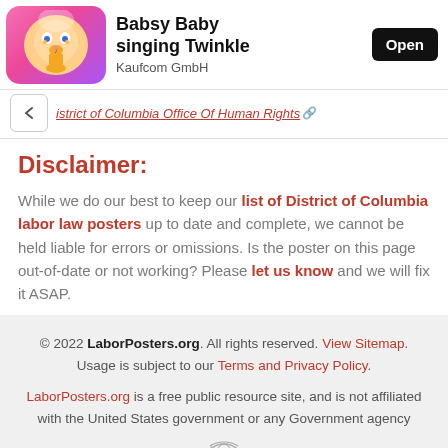[Figure (screenshot): Mobile app advertisement banner showing a cartoon baby in space on a pink background, with app title 'Babsy Baby singing Twinkle', publisher 'Kaufcom GmbH', and an 'Open' button]
District of Columbia Office Of Human Rights
Disclaimer:
While we do our best to keep our list of District of Columbia labor law posters up to date and complete, we cannot be held liable for errors or omissions. Is the poster on this page out-of-date or not working? Please let us know and we will fix it ASAP.
© 2022 LaborPosters.org. All rights reserved. View Sitemap. Usage is subject to our Terms and Privacy Policy.

LaborPosters.org is a free public resource site, and is not affiliated with the United States government or any Government agency